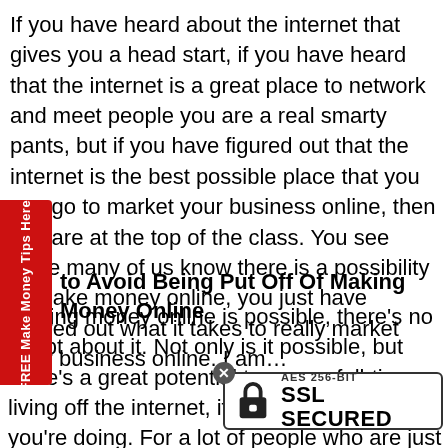If you have heard about the internet that gives you a head start, if you have heard that the internet is a great place to network and meet people you are a real smarty pants, but if you have figured out that the internet is the best possible place that you can go to market your business online, then you are at the top of the class. You see while many of us know there is a possibility to make money online, you just have figured out what it takes to really market your business online. I am…
to Avoid Being Put Off Of Making Money Online
Making money online is possible, there's no doubt about it. Not only is it possible, but there's a great potential to earn a full-time living off the internet, if you know what you're doing. For a lot of people who are just beginning to look at this unlimited income resource, they find this new arena very